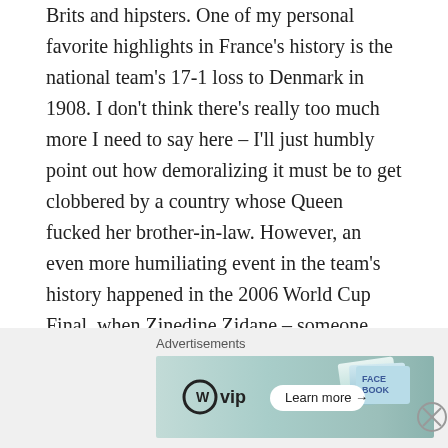Brits and hipsters. One of my personal favorite highlights in France's history is the national team's 17-1 loss to Denmark in 1908. I don't think there's really too much more I need to say here – I'll just humbly point out how demoralizing it must be to get clobbered by a country whose Queen fucked her brother-in-law. However, an even more humiliating event in the team's history happened in the 2006 World Cup Final, when Zinedine Zidane – someone who stands out as a douchegargler even among the French populace – found it necessary to blatantly headbutt a member of the opposing Italian team. And then they lost! That's like being ass-raped and still getting pregnant. Better yet, when the French national team qualified for the 2010 World Cup, they didn't even
[Figure (other): Advertisement banner: Advertisements label above a banner showing WordPress VIP logo and social media icons (Facebook, Twitter), with a 'Learn more →' button on a teal/turquoise gradient background.]